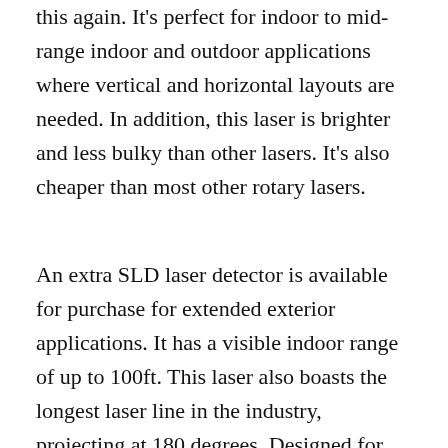this again. It's perfect for indoor to mid-range indoor and outdoor applications where vertical and horizontal layouts are needed. In addition, this laser is brighter and less bulky than other lasers. It's also cheaper than most other rotary lasers.
An extra SLD laser detector is available for purchase for extended exterior applications. It has a visible indoor range of up to 100ft. This laser also boasts the longest laser line in the industry, projecting at 180 degrees. Designed for short and mid-range interior and exterior